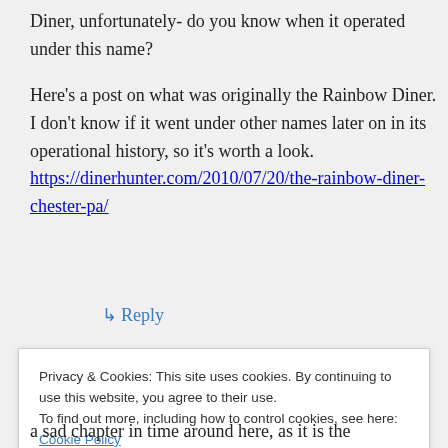Diner, unfortunately- do you know when it operated under this name?
Here's a post on what was originally the Rainbow Diner. I don't know if it went under other names later on in its operational history, so it's worth a look. https://dinerhunter.com/2010/07/20/the-rainbow-diner-chester-pa/
↳ Reply
Privacy & Cookies: This site uses cookies. By continuing to use this website, you agree to their use.
To find out more, including how to control cookies, see here: Cookie Policy
Close and accept
a sad chapter in time around here, as it is the